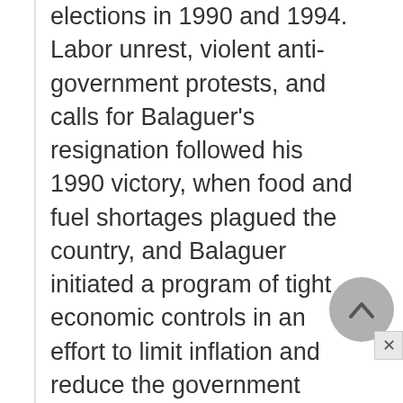elections in 1990 and 1994. Labor unrest, violent anti-government protests, and calls for Balaguer's resignation followed his 1990 victory, when food and fuel shortages plagued the country, and Balaguer initiated a program of tight economic controls in an effort to limit inflation and reduce the government deficit. Ultimately, charges of election fraud led to the shortening of his seventh term to two rather than four years. In a special election held June 30, 1996, Lionel